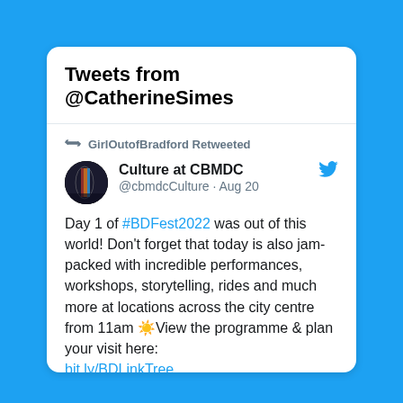Tweets from @CatherineSimes
GirlOutofBradford Retweeted
Culture at CBMDC
@cbmdcCulture · Aug 20
Day 1 of #BDFest2022 was out of this world! Don't forget that today is also jam-packed with incredible performances, workshops, storytelling, rides and much more at locations across the city centre from 11am ☀️View the programme & plan your visit here:
bit.ly/BDLinkTree